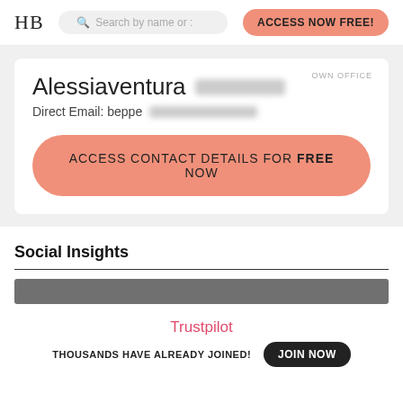HB | Search by name or : | ACCESS NOW FREE!
OWN OFFICE
Alessiaventura [blurred]
Direct Email: beppe [blurred]
ACCESS CONTACT DETAILS FOR FREE NOW
Social Insights
[Figure (other): Dark gray horizontal bar, partially visible]
Trustpilot
THOUSANDS HAVE ALREADY JOINED! JOIN NOW